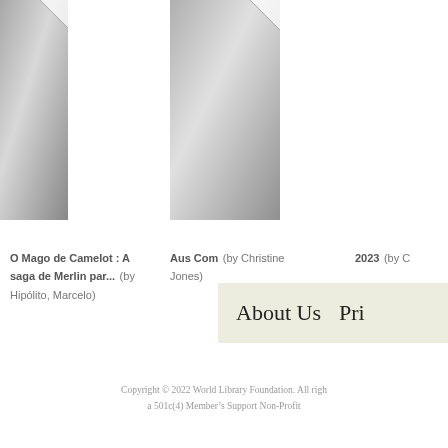[Figure (illustration): Book thumbnail cover partially clipped on left edge, gray gradient]
O Mago de Camelot : A saga de Merlin par... (by Hipólito, Marcelo)
[Figure (illustration): Book thumbnail cover, gray gradient]
Aus Com (by Christine Jones)
2023 (by C...)
About Us   Pri...
Copyright © 2022 World Library Foundation. All righ... a 501c(4) Member's Support Non-Profit